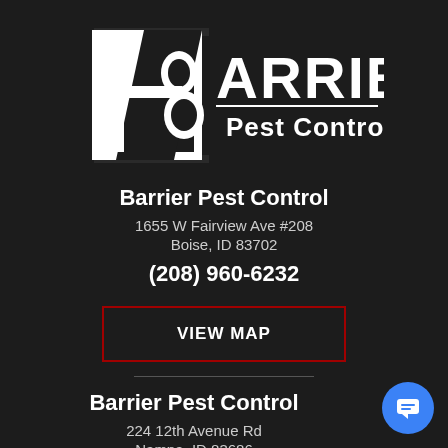[Figure (logo): Barrier Pest Control logo — white stylized B with diagonal slash on black background, with BARRIER in large caps and 'Pest Control' below]
Barrier Pest Control
1655 W Fairview Ave #208
Boise, ID 83702
(208) 960-6232
VIEW MAP
Barrier Pest Control
224 12th Avenue Rd
Nampa, ID 83686